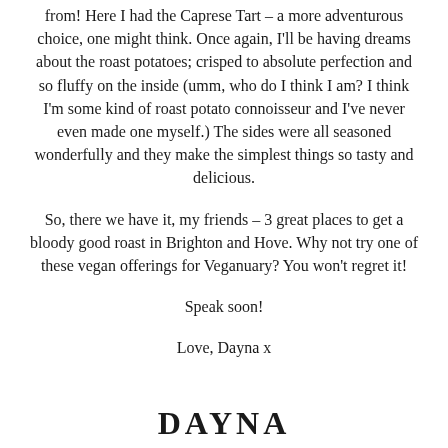from! Here I had the Caprese Tart – a more adventurous choice, one might think. Once again, I'll be having dreams about the roast potatoes; crisped to absolute perfection and so fluffy on the inside (umm, who do I think I am? I think I'm some kind of roast potato connoisseur and I've never even made one myself.) The sides were all seasoned wonderfully and they make the simplest things so tasty and delicious.
So, there we have it, my friends – 3 great places to get a bloody good roast in Brighton and Hove. Why not try one of these vegan offerings for Veganuary? You won't regret it!
Speak soon!
Love, Dayna x
[Figure (logo): Partial logo text showing 'DAYNA' in large bold serif letters at bottom of page]